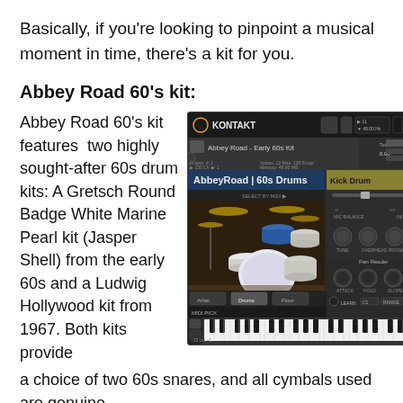Basically, if you're looking to pinpoint a musical moment in time, there's a kit for you.
Abbey Road 60's kit:
Abbey Road 60's kit features two highly sought-after 60s drum kits: A Gretsch Round Badge White Marine Pearl kit (Jasper Shell) from the early 60s and a Ludwig Hollywood kit from 1967. Both kits provide a choice of two 60s snares, and all cymbals used are genuine
[Figure (screenshot): Screenshot of Native Instruments Kontakt plugin interface showing AbbeyRoad 60s Drums kit with drum kit image, keyboard, and Kick Drum controls panel]